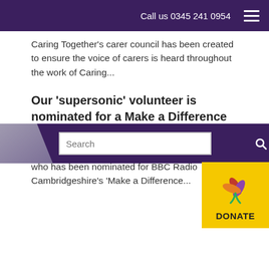Call us 0345 241 0954
Caring Together's carer council has been created to ensure the voice of carers is heard throughout the work of Caring...
Our 'supersonic' volunteer is nominated for a Make a Difference award
A huge well done to our volunteer Richard Cross who has been nominated for BBC Radio Cambridgeshire's 'Make a Difference...
[Figure (screenshot): Search bar and donate button at the bottom of the page]